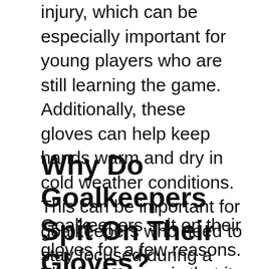injury, which can be especially important for young players who are still learning the game. Additionally, these gloves can help keep hands warm and dry in cold weather conditions. This can be important for goalkeepers who need to stay focused during a match. Finally, goalkeeper gloves with finger protection can also help to improve grip on the ball, which can be helpful when making saves.
Why Do Goalkeepers Spit On Their Gloves?
Goalkeepers spit on their gloves for a few reasons. The first reason is that it helps to keep their hands wet and slippery. This is important because it makes it harder for the